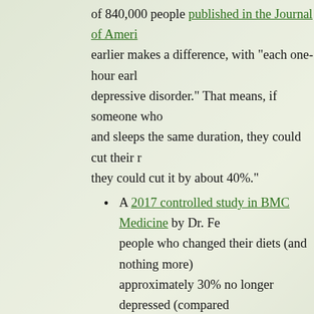of 840,000 people published in the Journal of Ameri… earlier makes a difference, with "each one-hour earl… depressive disorder." That means, if someone who … and sleeps the same duration, they could cut their r… they could cut it by about 40%."
A 2017 controlled study in BMC Medicine by Dr. Fe… people who changed their diets (and nothing more) … approximately 30% no longer depressed (compared…
Many studies have confirmed the value of physical a… of depressed patients were supported in regularly g… times a week. They ended up with just over 60 perc… percent taking antidepressant medication), accordin…
Mindfulness meditation has also repeatedly been pr…
To be clear, none of this suggests people should try to ch…